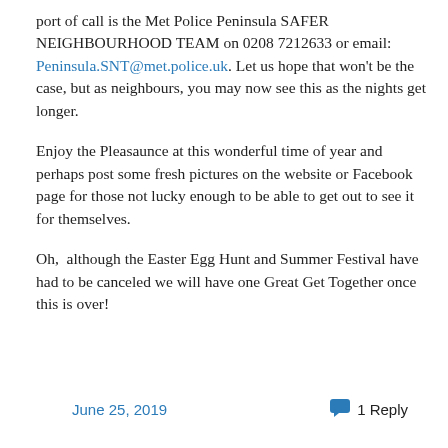port of call is the Met Police Peninsula SAFER NEIGHBOURHOOD TEAM on 0208 7212633 or email: Peninsula.SNT@met.police.uk. Let us hope that won't be the case, but as neighbours, you may now see this as the nights get longer.
Enjoy the Pleasaunce at this wonderful time of year and perhaps post some fresh pictures on the website or Facebook page for those not lucky enough to be able to get out to see it for themselves.
Oh,  although the Easter Egg Hunt and Summer Festival have had to be canceled we will have one Great Get Together once this is over!
June 25, 2019    1 Reply